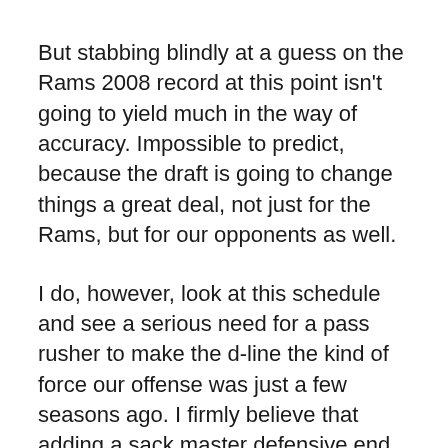But stabbing blindly at a guess on the Rams 2008 record at this point isn't going to yield much in the way of accuracy. Impossible to predict, because the draft is going to change things a great deal, not just for the Rams, but for our opponents as well.
I do, however, look at this schedule and see a serious need for a pass rusher to make the d-line the kind of force our offense was just a few seasons ago. I firmly believe that adding a sack master defensive end will make this unit something of an equalizer in those games on the schedule where the Rams seem over-matched at first glance. Add to that, the unit's progress last year in controlling opposing rushers, and a stout d-line should easily narrow the spread in those early season David/Goliath games against the Giants, the